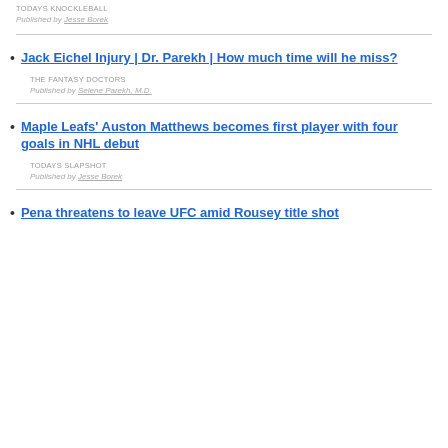TODAYS KNOCKLEBALL
Published by Jesse Borek
Jack Eichel Injury | Dr. Parekh | How much time will he miss?
THE FANTASY DOCTORS
Published by Selene Parekh, M.D.
Maple Leafs' Auston Matthews becomes first player with four goals in NHL debut
TODAYS SLAPSHOT
Published by Jesse Borek
Pena threatens to leave UFC amid Rousey title shot